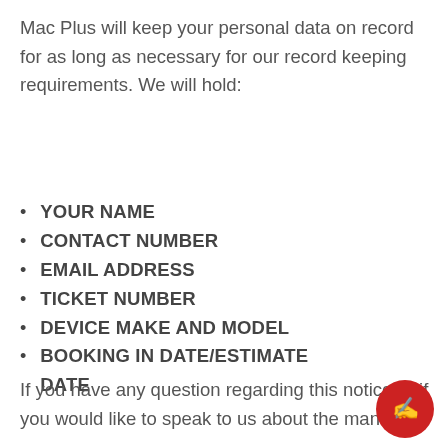Mac Plus will keep your personal data on record for as long as necessary for our record keeping requirements. We will hold:
YOUR NAME
CONTACT NUMBER
EMAIL ADDRESS
TICKET NUMBER
DEVICE MAKE AND MODEL
BOOKING IN DATE/ESTIMATE DATE
If you have any question regarding this notice or if you would like to speak to us about the manner in